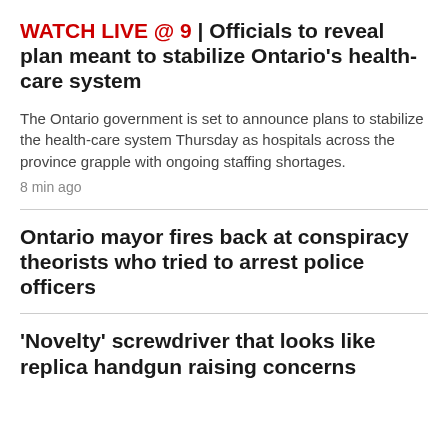WATCH LIVE @ 9 | Officials to reveal plan meant to stabilize Ontario's health-care system
The Ontario government is set to announce plans to stabilize the health-care system Thursday as hospitals across the province grapple with ongoing staffing shortages.
8 min ago
Ontario mayor fires back at conspiracy theorists who tried to arrest police officers
'Novelty' screwdriver that looks like replica handgun raising concerns
CALGARY >